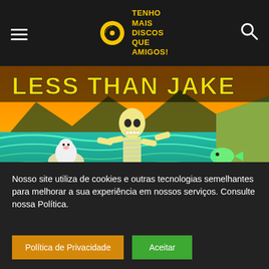TENHO MAIS DISCOS QUE AMIGOS!
[Figure (illustration): Album art for Less Than Jake showing a skeleton sitting on a beach with teal waves, orange sky, mountains, cartoon animals and food characters. Text at top reads LESS THAN JAKE.]
Nosso site utiliza de cookies e outras tecnologias semelhantes para melhorar a sua experiência em nossos serviços. Consulte nossa Política.
Política de Privacidade
Aceitar